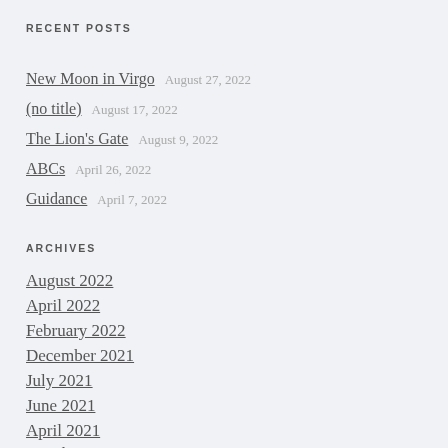RECENT POSTS
New Moon in Virgo   August 27, 2022
(no title)   August 17, 2022
The Lion's Gate   August 9, 2022
ABCs   April 26, 2022
Guidance   April 7, 2022
ARCHIVES
August 2022
April 2022
February 2022
December 2021
July 2021
June 2021
April 2021
March 2021